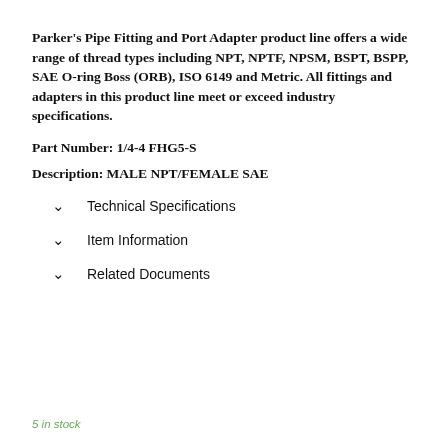Parker's Pipe Fitting and Port Adapter product line offers a wide range of thread types including NPT, NPTF, NPSM, BSPT, BSPP, SAE O-ring Boss (ORB), ISO 6149 and Metric. All fittings and adapters in this product line meet or exceed industry specifications.
Part Number: 1/4-4 FHG5-S
Description: MALE NPT/FEMALE SAE
Technical Specifications
Item Information
Related Documents
5 in stock